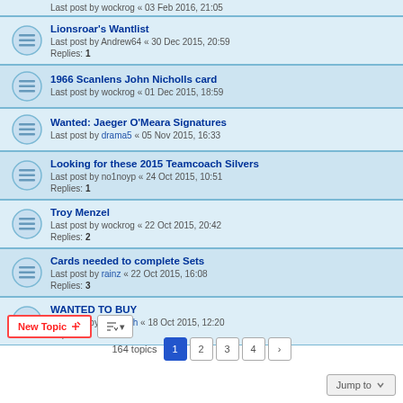Last post by wockrog « 03 Feb 2016, 21:05
Lionsroar's Wantlist
Last post by Andrew64 « 30 Dec 2015, 20:59
Replies: 1
1966 Scanlens John Nicholls card
Last post by wockrog « 01 Dec 2015, 18:59
Wanted: Jaeger O'Meara Signatures
Last post by drama5 « 05 Nov 2015, 16:33
Looking for these 2015 Teamcoach Silvers
Last post by no1noyp « 24 Oct 2015, 10:51
Replies: 1
Troy Menzel
Last post by wockrog « 22 Oct 2015, 20:42
Replies: 2
Cards needed to complete Sets
Last post by rainz « 22 Oct 2015, 16:08
Replies: 3
WANTED TO BUY
Last post by Go North « 18 Oct 2015, 12:20
Replies: 1
164 topics · pages 1 2 3 4 >
Jump to